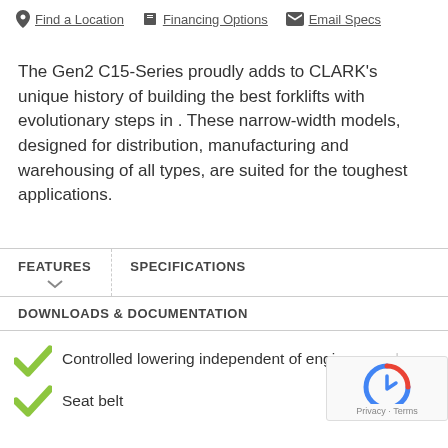Find a Location   Financing Options   Email Specs
The Gen2 C15-Series proudly adds to CLARK's unique history of building the best forklifts with evolutionary steps in . These narrow-width models, designed for distribution, manufacturing and warehousing of all types, are suited for the toughest applications.
FEATURES
SPECIFICATIONS
DOWNLOADS & DOCUMENTATION
Controlled lowering independent of engine speed
Seat belt